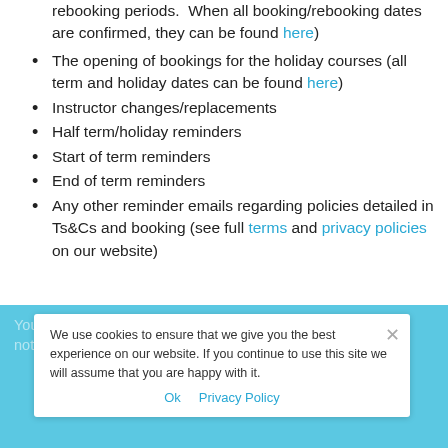rebooking periods. When all booking/rebooking dates are confirmed, they can be found here)
The opening of bookings for the holiday courses (all term and holiday dates can be found here)
Instructor changes/replacements
Half term/holiday reminders
Start of term reminders
End of term reminders
Any other reminder emails regarding policies detailed in Ts&Cs and booking (see full terms and privacy policies on our website)
You will continue to receive the following experienced service notifications:
We use cookies to ensure that we give you the best experience on our website. If you continue to use this site we will assume that you are happy with it. Ok  Privacy Policy